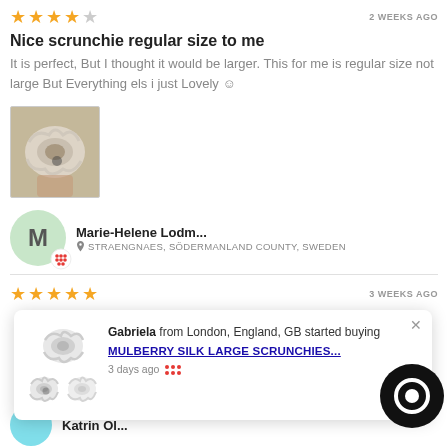★★★★☆  2 WEEKS AGO
Nice scrunchie regular size to me
It is perfect, But I thought it would be larger. This for me is regular size not large But Everything els i just Lovely ☺
[Figure (photo): Photo of a white scrunchie held in hand]
Marie-Helene Lodm...
STRAENGNAES, SÖDERMANLAND COUNTY, SWEDEN
★★★★★  3 WEEKS AGO
[Figure (screenshot): Popup showing Gabriela from London, England, GB started buying MULBERRY SILK LARGE SCRUNCHIES... 3 days ago]
Katrin Ol...